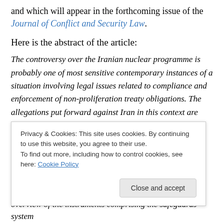and which will appear in the forthcoming issue of the Journal of Conflict and Security Law.
Here is the abstract of the article:
The controversy over the Iranian nuclear programme is probably one of most sensitive contemporary instances of a situation involving legal issues related to compliance and enforcement of non-proliferation treaty obligations. The allegations put forward against Iran in this context are rarely formulated or substantiated in legal terms, nor grounded in a clearly identifiable legal basis or framework. This article aims at the identification of the specific international obligations that Iran would
Privacy & Cookies: This site uses cookies. By continuing to use this website, you agree to their use.
To find out more, including how to control cookies, see here: Cookie Policy
overview of the instruments comprising the safeguards system